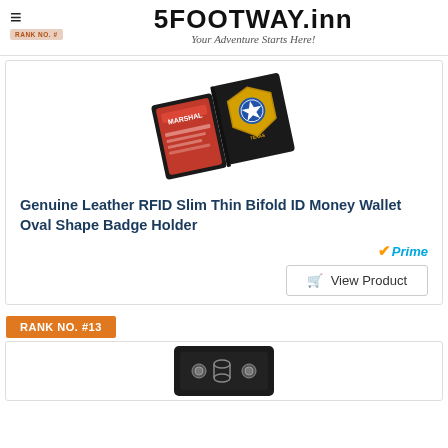5FOOTWAY.inn — Your Adventure Starts Here!
[Figure (photo): Open bifold leather wallet showing a red Marshal ID card on the left and a gold star badge on the right]
Genuine Leather RFID Slim Thin Bifold ID Money Wallet Oval Shape Badge Holder
[Figure (logo): Amazon Prime logo with orange checkmark and blue 'Prime' text]
View Product
RANK NO. #13
[Figure (photo): Partial view of a black leather wallet/badge holder product]